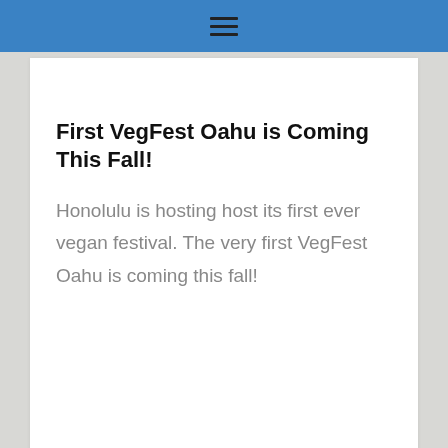≡
First VegFest Oahu is Coming This Fall!
Honolulu is hosting host its first ever vegan festival. The very first VegFest Oahu is coming this fall!